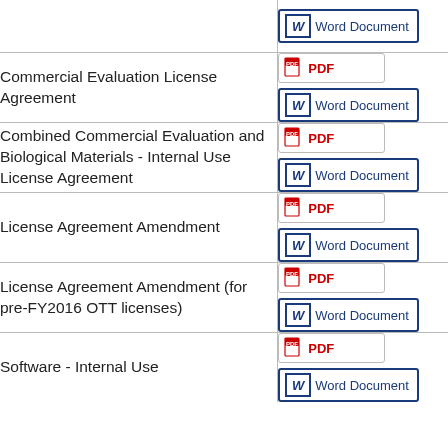| Document Name | Format |
| --- | --- |
| (partial - top row cut off) | Word Document |
| Commercial Evaluation License Agreement | PDF / Word Document |
| Combined Commercial Evaluation and Biological Materials - Internal Use License Agreement | PDF / Word Document |
| License Agreement Amendment | PDF / Word Document |
| License Agreement Amendment (for pre-FY2016 OTT licenses) | PDF / Word Document |
| Software - Internal Use | PDF / Word Document |